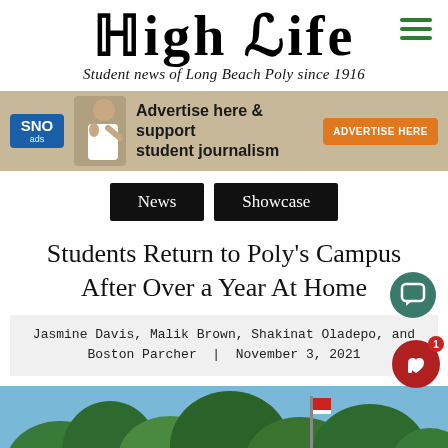HIGH LIFE
Student news of Long Beach Poly since 1916
[Figure (infographic): SNO ads advertisement banner: Advertise here & support student journalism, with an orange ADVERTISE HERE button]
News  Showcase
Students Return to Poly's Campus After Over a Year At Home
Jasmine Davis, Malik Brown, Shakinat Oladepo, and Boston Parcher  |  November 3, 2021
[Figure (photo): Outdoor campus photo showing trees against a blue sky with a flag pole]